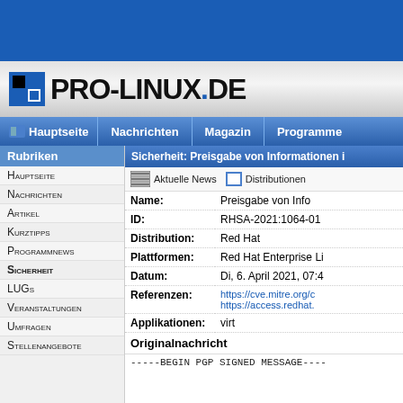[Figure (screenshot): Blue header banner of Pro-Linux.de website]
PRO-LINUX.DE
Hauptseite | Nachrichten | Magazin | Programme
Rubriken
Hauptseite
Nachrichten
Artikel
Kurztipps
Programmnews
Sicherheit
LUGs
Veranstaltungen
Umfragen
Stellenangebote
Sicherheit: Preisgabe von Informationen i
| Field | Value |
| --- | --- |
| Name: | Preisgabe von Info |
| ID: | RHSA-2021:1064-01 |
| Distribution: | Red Hat |
| Plattformen: | Red Hat Enterprise Li |
| Datum: | Di, 6. April 2021, 07:4 |
| Referenzen: | https://cve.mitre.org/c
https://access.redhat. |
| Applikationen: | virt |
Originalnachricht
-----BEGIN PGP SIGNED MESSAGE----